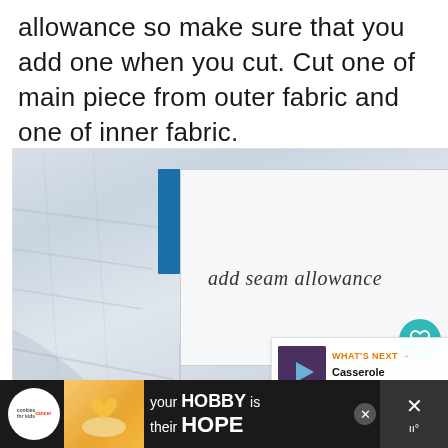allowance so make sure that you add one when you cut. Cut one of main piece from outer fabric and one of inner fabric.
[Figure (photo): Photo of light blue/gray fabric with a vertical blue tape strip marking the seam allowance line. The right portion shows a white paper area with handwritten-style italic text reading 'add seam allowance'. Overlaid UI elements include a teal heart button, a white share button, and a 'What's Next' panel showing a thumbnail with text 'Casserole Carrier with...']
[Figure (infographic): Bottom advertisement bar with black background. Shows 'cookies for kids cancer' logo, photo of hands holding a heart-shaped yellow cookie, and text 'your HOBBY is their HOPE' with a close button and navigation icons.]